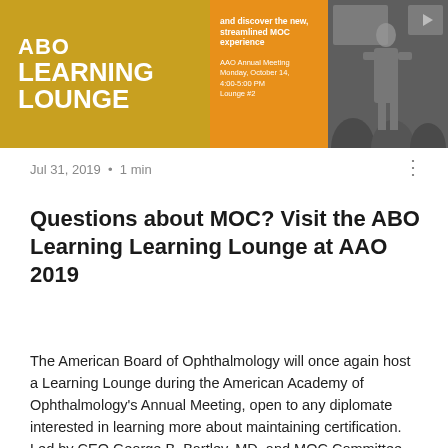[Figure (photo): ABO Learning Lounge promotional banner with golden/orange background on left showing 'ABO LEARNING LOUNGE' text, orange middle panel with event details for AAO Annual Meeting Monday October 14 4:00-5:00 PM Lounge #2, and right panel with black and white photo of a person presenting at a conference.]
Jul 31, 2019  •  1 min
Questions about MOC? Visit the ABO Learning Learning Lounge at AAO 2019
The American Board of Ophthalmology will once again host a Learning Lounge during the American Academy of Ophthalmology's Annual Meeting, open to any diplomate interested in learning more about maintaining certification. Led by CEO George B. Bartley, MD, and MOC Committee Chair Andreas K. Louer, MD, along with staff and